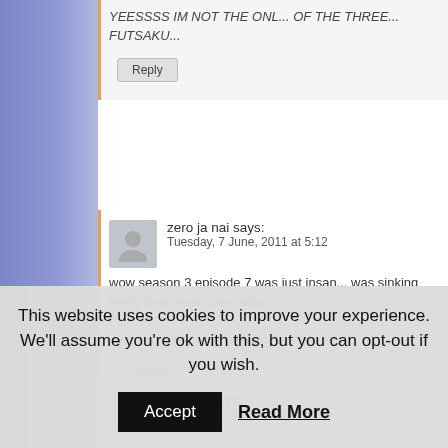> Anime info sites
> Community sites
> Suggestion Box / Chat
YEESSSS IM NOT THE ONL... OF THE THREE... FUTSAKU...
Reply
zero ja nai says:
Tuesday, 7 June, 2011 at 5:12
wow season 3 episode 7 was just insan... was sinking every beat when them tear...

definitely one of the best animes i've ev...
Reply
klekle8 says:
Tuesday, 21 June, 2011 at 6:35
BUT THIS PERSONE DIDNT MENTIO... IS....I MEAN THE DOG... SORRY...lol... DOESENT MENTION THE PENTAGON... GERENTIED REWACHES...IF YOU AR...
This website uses cookies to improve your experience. We'll assume you're ok with this, but you can opt-out if you wish.
Accept
Read More